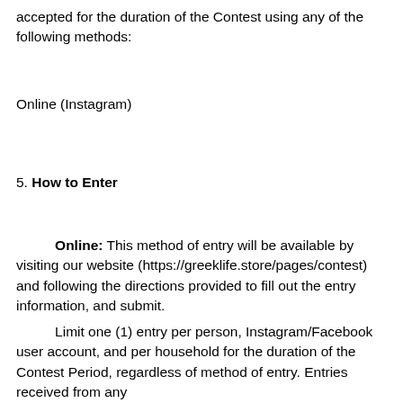accepted for the duration of the Contest using any of the following methods:
Online (Instagram)
5. How to Enter
Online: This method of entry will be available by visiting our website (https://greeklife.store/pages/contest) and following the directions provided to fill out the entry information, and submit.
Limit one (1) entry per person, Instagram/Facebook user account, and per household for the duration of the Contest Period, regardless of method of entry. Entries received from any